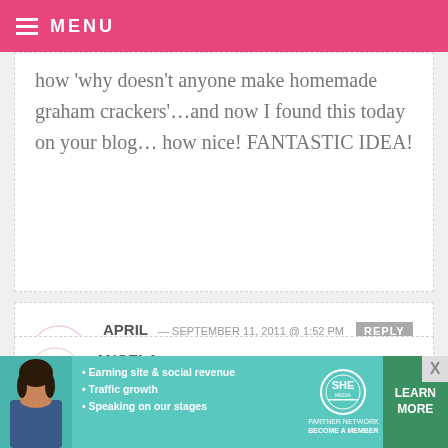MENU
how 'why doesn't anyone make homemade graham crackers'…and now I found this today on your blog… how nice! FANTASTIC IDEA!
APRIL — SEPTEMBER 11, 2011 @ 1:52 PM  REPLY
I LOVE Graham crackers! Thank you!
ANGELA — SEPTEMBER 11, 2011 @ 12:12 PM
[Figure (infographic): SHE Partner Network advertisement banner with photo of woman, bullet points about earning site & social revenue, traffic growth, speaking on our stages, and a Learn More button]